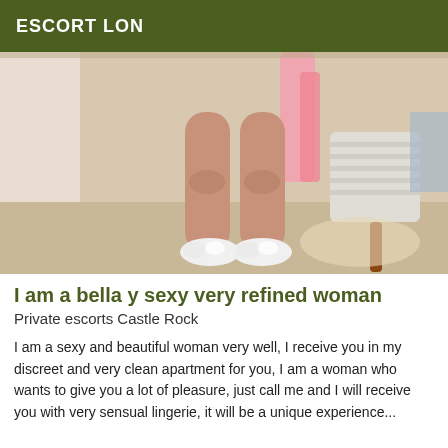ESCORT LON
[Figure (photo): Photo showing legs of a woman wearing a pink robe and white fluffy slippers, standing near a chair in an indoor room setting.]
I am a bella y sexy very refined woman
Private escorts Castle Rock
I am a sexy and beautiful woman very well, I receive you in my discreet and very clean apartment for you, I am a woman who wants to give you a lot of pleasure, just call me and I will receive you with very sensual lingerie, it will be a unique experience...